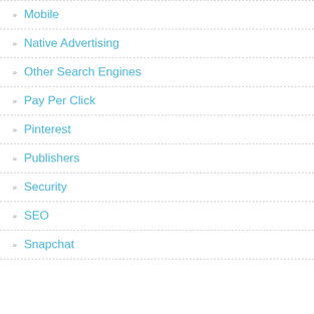Mobile
Native Advertising
Other Search Engines
Pay Per Click
Pinterest
Publishers
Security
SEO
Snapchat